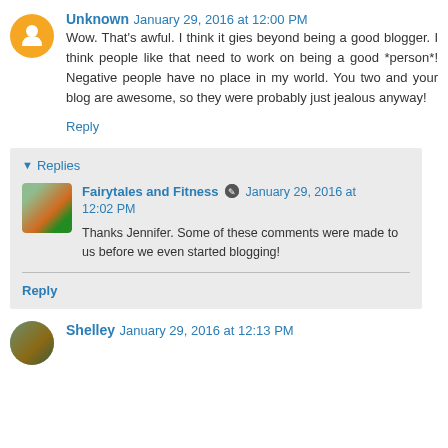Unknown January 29, 2016 at 12:00 PM
Wow. That's awful. I think it gies beyond being a good blogger. I think people like that need to work on being a good *person*! Negative people have no place in my world. You two and your blog are awesome, so they were probably just jealous anyway!
Reply
Replies
Fairytales and Fitness January 29, 2016 at 12:02 PM
Thanks Jennifer. Some of these comments were made to us before we even started blogging!
Reply
Shelley January 29, 2016 at 12:13 PM